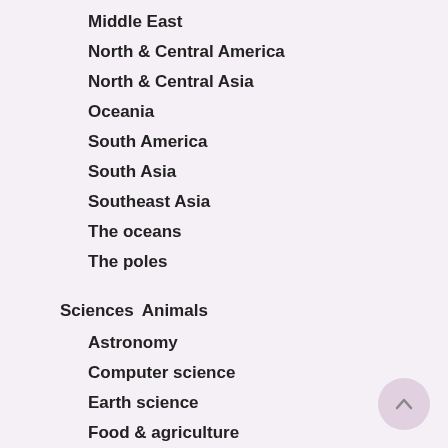Middle East
North & Central America
North & Central Asia
Oceania
South America
South Asia
Southeast Asia
The oceans
The poles
Sciences
Animals
Astronomy
Computer science
Earth science
Food & agriculture
Health & medicine
Mathematics & statistics